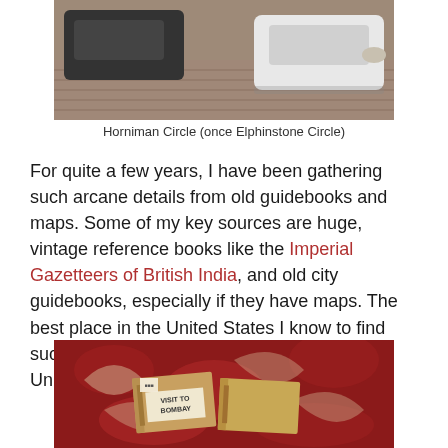[Figure (photo): Photo of Horniman Circle (once Elphinstone Circle) showing parked cars on a brick-paved area with a white car prominent on the right]
Horniman Circle (once Elphinstone Circle)
For quite a few years, I have been gathering such arcane details from old guidebooks and maps. Some of my key sources are huge, vintage reference books like the Imperial Gazetteers of British India, and old city guidebooks, especially if they have maps. The best place in the United States I know to find such wonders is the Ames Library within the University of Minnesota.
[Figure (photo): Photo of old vintage guidebooks on a red floral patterned fabric, with a book labeled 'VISIT TO BOMBAY' visible]